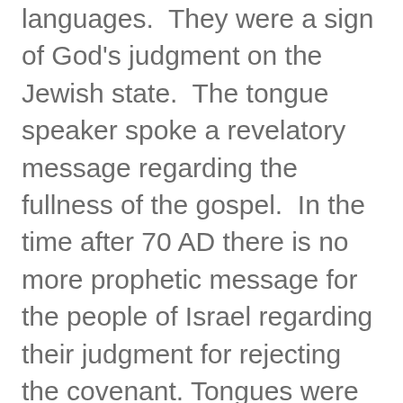languages.  They were a sign of God's judgment on the Jewish state.  The tongue speaker spoke a revelatory message regarding the fullness of the gospel.  In the time after 70 AD there is no more prophetic message for the people of Israel regarding their judgment for rejecting the covenant.  Tongues were not then and are not now a prayer language.